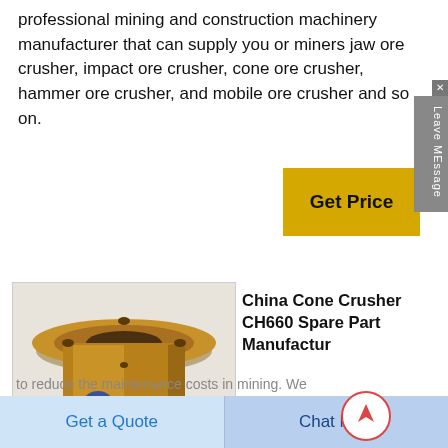professional mining and construction machinery manufacturer that can supply you or miners jaw ore crusher, impact ore crusher, cone ore crusher, hammer ore crusher, and mobile ore crusher and so on.
[Figure (other): Yellow 'Get Price' button]
[Figure (photo): Photo of a bronze/gold colored cylindrical cone crusher spare part (bushing) with a flange top, sitting on a light surface with a small blue label sticker]
China Cone Crusher CH660 Spare Part Manufacturer
In addition, all parts of the crusher are wear-resistant, so as
to reduce the maintenance costs in mining. We
[Figure (other): Scroll-to-top circular button with upward arrow]
Get a Quote
Chat Now